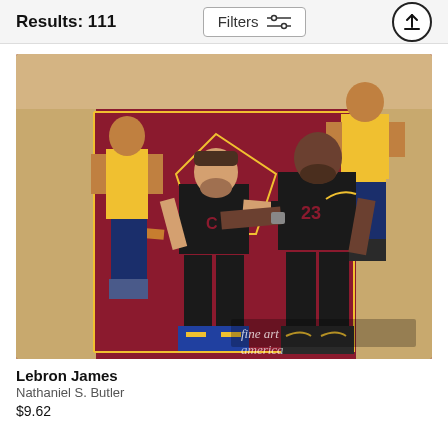Results: 111
[Figure (photo): Two Cleveland Cavaliers basketball players in black uniforms on a maroon court, one reaching out to shake hands with the other. Other players visible in yellow Indiana Pacers uniforms in background. Fine Art America watermark visible.]
Lebron James
Nathaniel S. Butler
$9.62